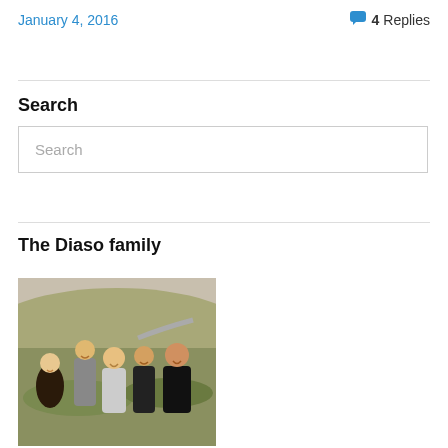January 4, 2016
4 Replies
Search
Search
The Diaso family
[Figure (photo): Family photo of the Diaso family — five adults smiling outdoors on a hillside with dry brush and a winding road in the background. From left: a blonde woman in black, a tall young man in grey, a young woman in a polka-dot dress, a young man in black, and an older man in black.]